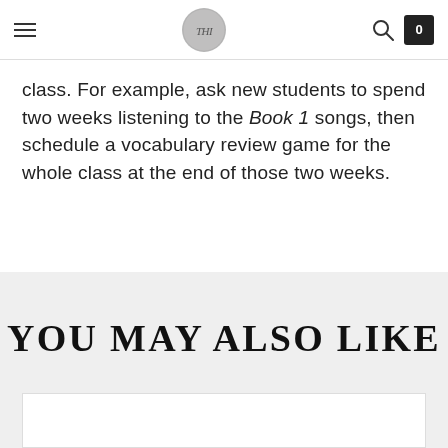[navigation header with logo]
class. For example, ask new students to spend two weeks listening to the Book 1 songs, then schedule a vocabulary review game for the whole class at the end of those two weeks.
YOU MAY ALSO LIKE
[Figure (other): White card/product image area at bottom of page]